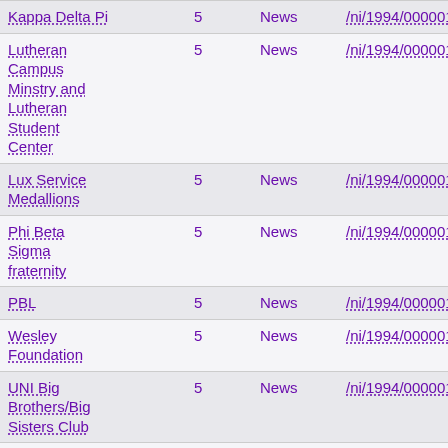| Kappa Delta Pi | 5 | News | /ni/1994/00000101.jpg |
| Lutheran Campus Minstry and Lutheran Student Center | 5 | News | /ni/1994/00000101.jpg |
| Lux Service Medallions | 5 | News | /ni/1994/00000101.jpg |
| Phi Beta Sigma fraternity | 5 | News | /ni/1994/00000101.jpg |
| PBL | 5 | News | /ni/1994/00000101.jpg |
| Wesley Foundation | 5 | News | /ni/1994/00000101.jpg |
| UNI Big Brothers/Big Sisters Club | 5 | News | /ni/1994/00000101.jpg |
| Campus Bible | 5 | News | /ni/1994/00000101.jpg |